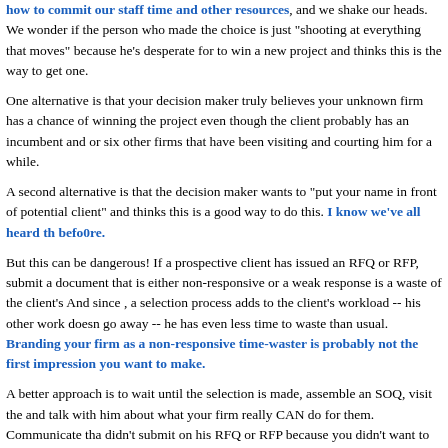how to commit our staff time and other resources, and we shake our heads. We wonder if the person who made the choice is just "shooting at everything that moves" because he's desperate for to win a new project and thinks this is the way to get one.
One alternative is that your decision maker truly believes your unknown firm has a chance of winning the project even though the client probably has an incumbent and or six other firms that have been visiting and courting him for a while.
A second alternative is that the decision maker wants to "put your name in front of potential client" and thinks this is a good way to do this. I know we've all heard this befo0re.
But this can be dangerous! If a prospective client has issued an RFQ or RFP, submitting a document that is either non-responsive or a weak response is a waste of the client's time. And since , a selection process adds to the client's workload -- his other work doesn't go away -- he has even less time to waste than usual. Branding your firm as a non-responsive time-waster is probably not the first impression you want to make.
A better approach is to wait until the selection is made, assemble an SOQ, visit the and talk with him about what your firm really CAN do for them. Communicate that you didn't submit on his RFQ or RFP because you didn't want to waste his time with a non-responsive submittal (perhaps your major services are not what he was looking for at that time, but could truly bring him value on other projects). Such a truth can help you establish your credibility and integrity.
People give work to people they know, like and trust. They only give work to a stra...